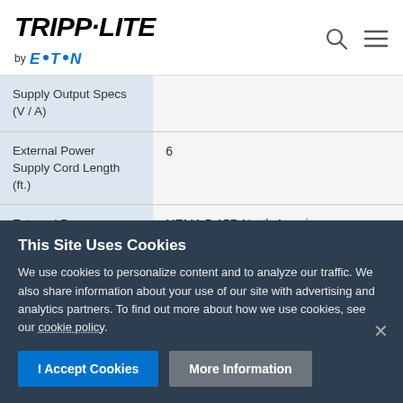[Figure (logo): Tripp-Lite by Eaton logo with search and menu icons]
| Specification | Value |
| --- | --- |
| Supply Output Specs (V / A) |  |
| External Power Supply Cord Length (ft.) | 6 |
| External Power | NEMA 5-15P North America |
This Site Uses Cookies
We use cookies to personalize content and to analyze our traffic. We also share information about your use of our site with advertising and analytics partners. To find out more about how we use cookies, see our cookie policy.
I Accept Cookies | More Information